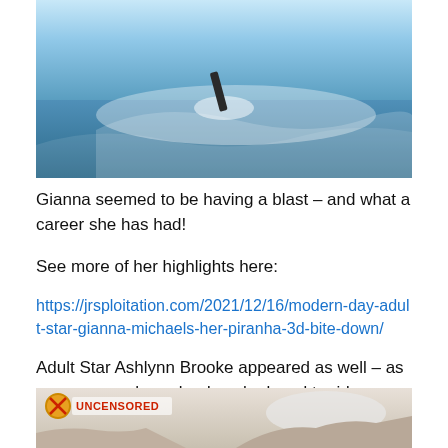[Figure (photo): Person swimming or surfing in ocean water with waves splashing]
Gianna seemed to be having a blast – and what a career she has had!
See more of her highlights here:
https://jrsploitation.com/2021/12/16/modern-day-adult-star-gianna-michaels-her-piranha-3d-bite-down/
Adult Star Ashlynn Brooke appeared as well – as a very sexy cheeerleader who loved to ride around in convertibles as well:
[Figure (photo): Woman in convertible outdoors with rocky landscape, UNCENSORED watermark visible]